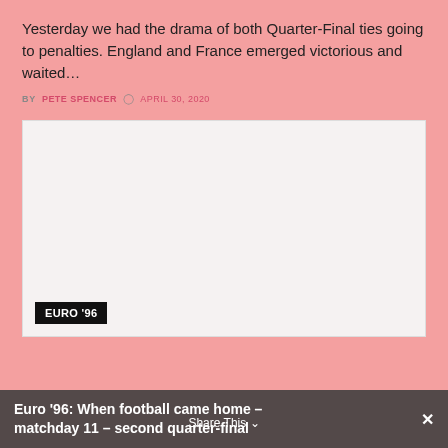Yesterday we had the drama of both Quarter-Final ties going to penalties. England and France emerged victorious and waited…
BY PETE SPENCER  APRIL 30, 2020
[Figure (photo): A mostly blank/white image placeholder with a black label tag reading EURO '96 in the bottom left corner.]
Euro '96: When football came home – matchday 11 – second quarter-final
Share This